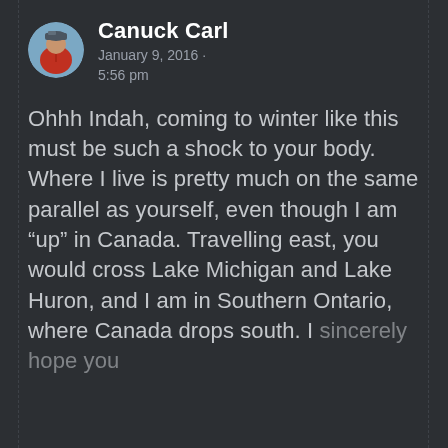[Figure (photo): Circular avatar photo of a person wearing a red jacket and winter hat outdoors]
Canuck Carl
January 9, 2016 · 5:56 pm
Ohhh Indah, coming to winter like this must be such a shock to your body. Where I live is pretty much on the same parallel as yourself, even though I am “up” in Canada. Travelling east, you would cross Lake Michigan and Lake Huron, and I am in Southern Ontario, where Canada drops south. I sincerely hope you